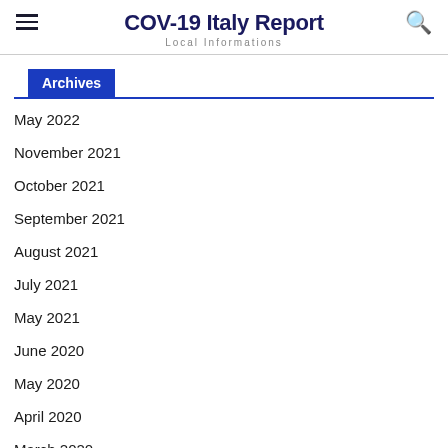COV-19 Italy Report — Local Informations
Archives
May 2022
November 2021
October 2021
September 2021
August 2021
July 2021
May 2021
June 2020
May 2020
April 2020
March 2020